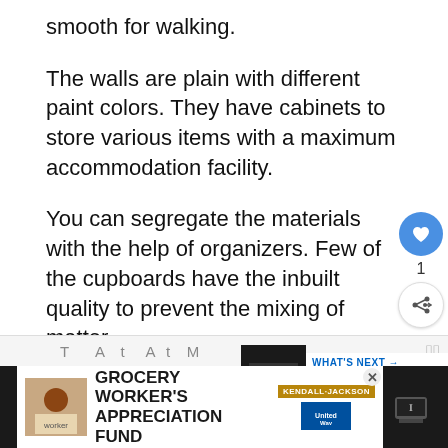smooth for walking.
The walls are plain with different paint colors. They have cabinets to store various items with a maximum accommodation facility.
You can segregate the materials with the help of organizers. Few of the cupboards have the inbuilt quality to prevent the mixing of matter.
They are rigid enough to protect the environmental hazards. The walls have no cracks for penetration of water interna…
[Figure (screenshot): Web UI overlay: heart/like button (blue circle), count '1', share button, and a 'WHAT'S NEXT' panel showing a thumbnail and text 'Why Does My Ford Say...']
[Figure (screenshot): Advertisement banner at bottom: 'GROCERY WORKER'S APPRECIATION FUND' with Kendall-Jackson and United Way logos on dark background]
GROCERY WORKER'S APPRECIATION FUND